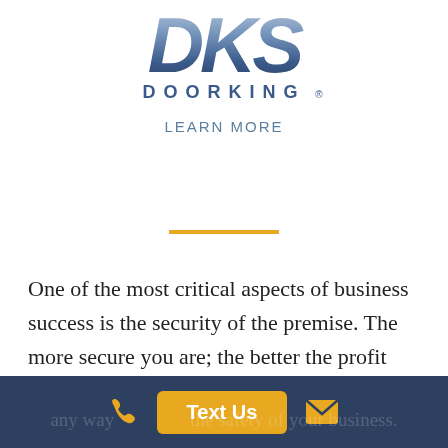[Figure (logo): DoorKing logo with stylized DKS letters above and DOORKING text below]
LEARN MORE
[Figure (other): Gold horizontal divider line]
One of the most critical aspects of business success is the security of the premise. The more secure you are; the better the profit margins you will enjoy. There are
any way the safety of your business.